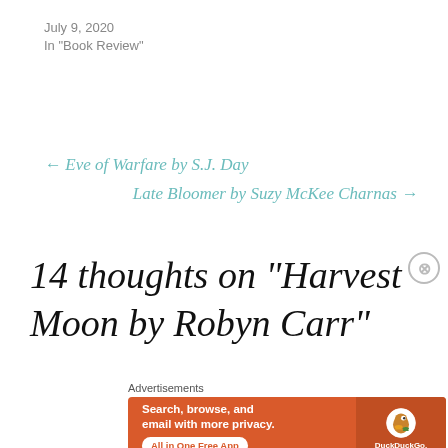July 9, 2020
In "Book Review"
← Eve of Warfare by S.J. Day
Late Bloomer by Suzy McKee Charnas →
14 thoughts on “Harvest Moon by Robyn Carr”
[Figure (screenshot): DuckDuckGo advertisement banner: orange background with text 'Search, browse, and email with more privacy. All in One Free App' and DuckDuckGo logo with duck icon on a phone silhouette]